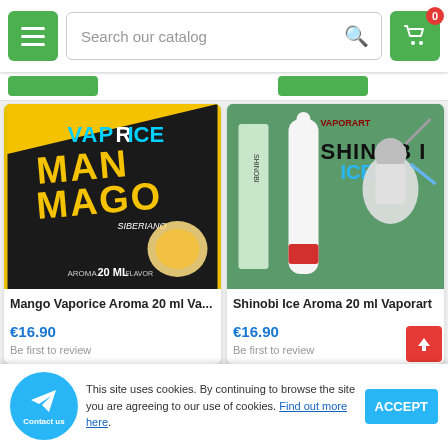Search our catalog
[Figure (screenshot): Mango Vaporice Aroma 20ml product image - yellow and black background with Vaporice logo and Mango Mago branding, 20ml aroma flavor]
Mango Vaporice Aroma 20 ml Va...
€16.90
Be first to review
[Figure (screenshot): Shinobi Ice Aroma 20ml Vaporart product image - green background with ninja character and Vaporart Shinobi Ice branding]
Shinobi Ice Aroma 20 ml Vaporart
€16.90
Be first to review
This site uses cookies. By continuing to browse the site you are agreeing to our use of cookies. Find out more here.